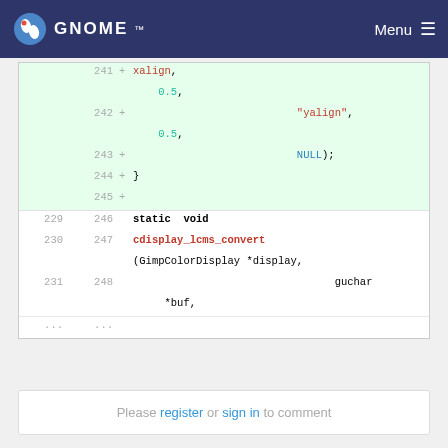GNOME — Menu
[Figure (screenshot): Code diff view showing added lines 241-245 with xalign, yalign, NULL); } and then normal lines 229/246 to 231/248 showing static void cdisplay_lcms_convert(GimpColorDisplay *display, guchar *buf,]
Please register or sign in to comment